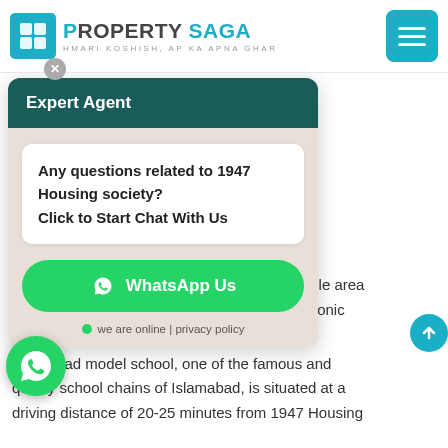[Figure (logo): Property Saga logo with tagline HMARI KOSHISH, AP KA APNA GHAR and teal hamburger menu button]
[Figure (screenshot): WhatsApp chat popup with dark teal header 'Expert Agent', white chat bubble with bold text 'Any questions related to 1947 Housing society? Click to Start Chat With Us', green WhatsApp Us button, online status row]
NA Interchange
l colony will amabad
e Centaurus g society. istance of 10 ociety.
which offers relishing confectionary to the whole area and many other restaurants, lie close to this iconic residential project.
Islamabad model school, one of the famous and quality school chains of Islamabad, is situated at a driving distance of 20-25 minutes from 1947 Housing